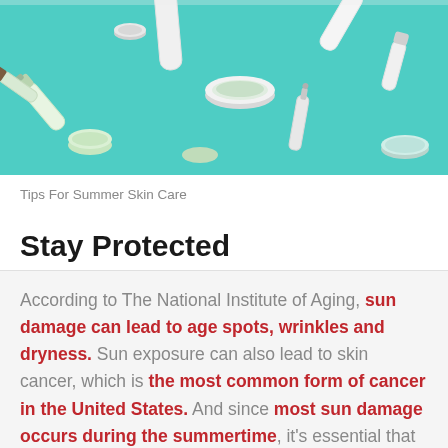[Figure (photo): Top-down flat lay of various white skincare product containers and tubes scattered on a teal/mint green background]
Tips For Summer Skin Care
Stay Protected
According to The National Institute of Aging, sun damage can lead to age spots, wrinkles and dryness. Sun exposure can also lead to skin cancer, which is the most common form of cancer in the United States. And since most sun damage occurs during the summertime, it's essential that